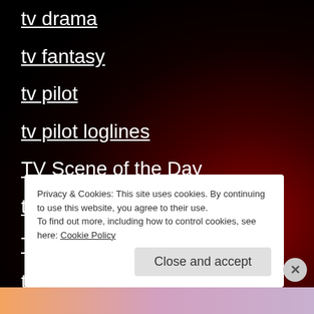tv drama
tv fantasy
tv pilot
tv pilot loglines
TV Scene of the Day
tv sex
TV Show Reviews
tv shows
tv spec
Privacy & Cookies: This site uses cookies. By continuing to use this website, you agree to their use. To find out more, including how to control cookies, see here: Cookie Policy
Close and accept